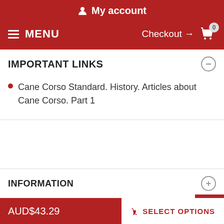My account
MENU  Checkout → 0
IMPORTANT LINKS
Cane Corso Standard. History. Articles about Cane Corso. Part 1
INFORMATION
MY ACCOUNT
AUD$43.29  SELECT OPTIONS